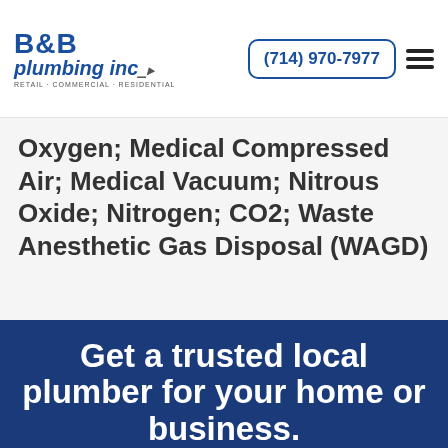B&B Plumbing Inc. | (714) 970-7977
Oxygen; Medical Compressed Air; Medical Vacuum; Nitrous Oxide; Nitrogen; CO2; Waste Anesthetic Gas Disposal (WAGD)
Get a trusted local plumber for your home or business.
We proudly serve the Orange County area. 24/7 emergency plumbing services are available.